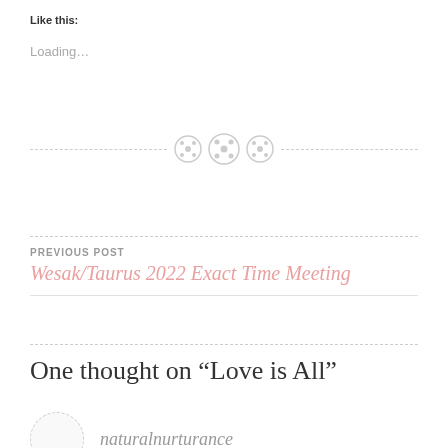Like this:
Loading...
[Figure (illustration): Three button icons in a row centered on a dashed horizontal divider line]
PREVIOUS POST
Wesak/Taurus 2022 Exact Time Meeting
One thought on “Love is All”
naturalnurturance